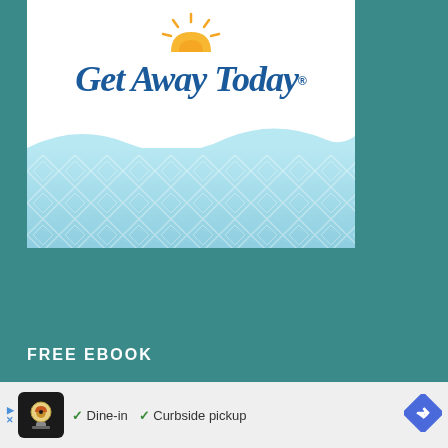[Figure (logo): Get Away Today travel company advertisement banner with sun logo and blue wave/pattern design]
[Figure (logo): The Shelf Network logo with ornate floral icon and serif text]
FREE EBOOK
Grab your free eBook of my best Slow Cooker Recipes:
[Figure (infographic): Bottom advertisement bar: Dine-in checkmark, Curbside pickup checkmark, navigation arrow icon, with chef icon]